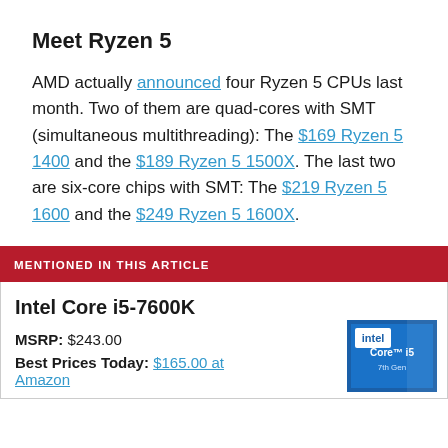Meet Ryzen 5
AMD actually announced four Ryzen 5 CPUs last month. Two of them are quad-cores with SMT (simultaneous multithreading): The $169 Ryzen 5 1400 and the $189 Ryzen 5 1500X. The last two are six-core chips with SMT: The $219 Ryzen 5 1600 and the $249 Ryzen 5 1600X.
MENTIONED IN THIS ARTICLE
Intel Core i5-7600K
MSRP: $243.00
Best Prices Today: $165.00 at Amazon
[Figure (photo): Intel Core i5-7600K product box image]